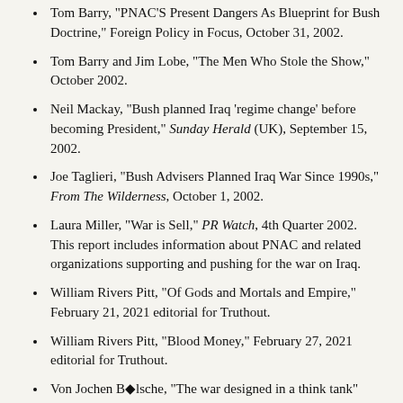Tom Barry, "PNAC'S Present Dangers As Blueprint for Bush Doctrine," Foreign Policy in Focus, October 31, 2002.
Tom Barry and Jim Lobe, "The Men Who Stole the Show," October 2002.
Neil Mackay, "Bush planned Iraq 'regime change' before becoming President," Sunday Herald (UK), September 15, 2002.
Joe Taglieri, "Bush Advisers Planned Iraq War Since 1990s," From The Wilderness, October 1, 2002.
Laura Miller, "War is Sell," PR Watch, 4th Quarter 2002. This report includes information about PNAC and related organizations supporting and pushing for the war on Iraq.
William Rivers Pitt, "Of Gods and Mortals and Empire," February 21, 2021 editorial for Truthout.
William Rivers Pitt, "Blood Money," February 27, 2021 editorial for Truthout.
Von Jochen Bölsche, "The war designed in a think tank" (German), Der Spiegel, March 4, 2003. This report describes how Bush's current policies toward Iraq mirrors PNAC's blueprint for war before Bush took office.
ABC's Nightline, hosted by Ted Koppel, featured a program about PNAC on Wednesday, March 5, 2003. See "The Plan: Were Neo-Conservatives' 1998 Memos a Blueprint for Iraq War?," March 10,